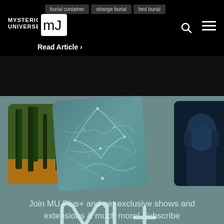burial container | strange burial | bed burial
[Figure (logo): Mysterious Universe MJ logo in white on black background]
Read Article >
[Figure (photo): MU Plus+ promotional image showing three overlapping cards (forest scene, neural network pattern, dark figure) on a teal-gray background with MU+ logo and subscription text]
Join MU Plus+ and get exclusive shows and extensions & much more! Subscribe